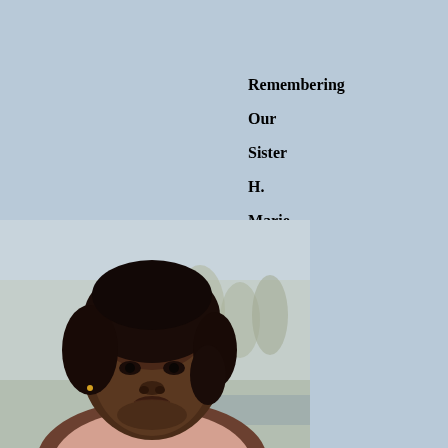Remembering Our Sister H. Marie Darlene Cisco-Bemah
[Figure (photo): Portrait photograph of H. Marie Darlene Cisco-Bemah, a woman with dark complexion and dark hair, set against a studio background with trees.]